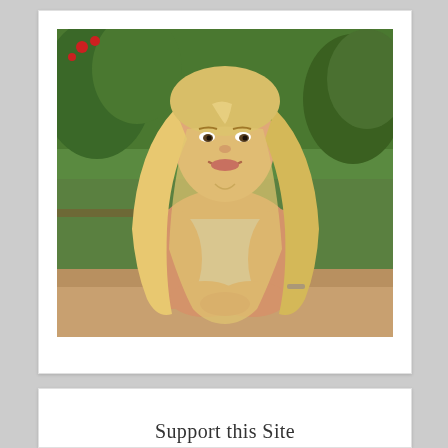[Figure (photo): Portrait photo of a blonde woman with long hair leaning on a surface outdoors, with trees and green grass in the background.]
Support this Site